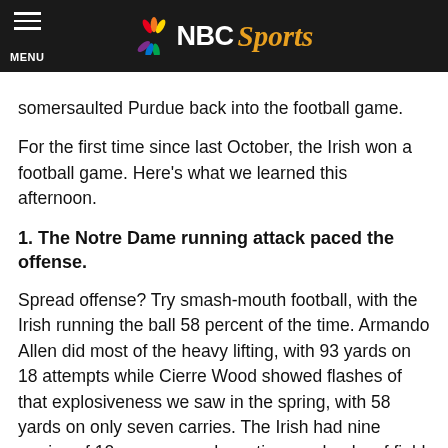NBC Sports
somersaulted Purdue back into the football game.
For the first time since last October, the Irish won a football game. Here's what we learned this afternoon.
1. The Notre Dame running attack paced the offense.
Spread offense? Try smash-mouth football, with the Irish running the ball 58 percent of the time. Armando Allen did most of the heavy lifting, with 93 yards on 18 attempts while Cierre Wood showed flashes of that explosiveness we saw in the spring, with 58 yards on only seven carries. The Irish had nine carries of 10 or more yards, eating up chunks of field quickly and effectively. Kelly told anyone that would listen that the Irish would run the ball, and even with three new starters along the offensive line, the Boilermakers had no answer for the Irish run game. Breaking in a new quarterback is always a challenge, but